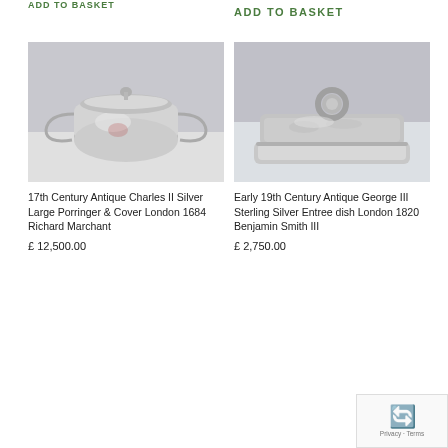ADD TO BASKET
ADD TO BASKET
[Figure (photo): 17th Century Antique Charles II Silver Large Porringer & Cover, a polished silver two-handled cup with lid and decorative finial]
17th Century Antique Charles II Silver Large Porringer & Cover London 1684 Richard Marchant
£ 12,500.00
[Figure (photo): Early 19th Century Antique George III Sterling Silver Entree dish with ornate embossed lid and ring handle, London 1820 Benjamin Smith III]
Early 19th Century Antique George III Sterling Silver Entree dish London 1820 Benjamin Smith III
£ 2,750.00